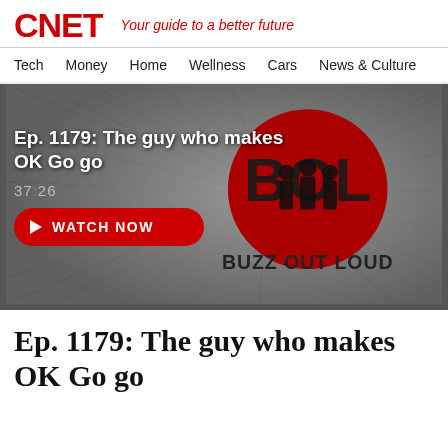CNET — Your guide to a better future
Tech
Money
Home
Wellness
Cars
News & Culture
[Figure (screenshot): Video thumbnail for CNET Buzz Out Loud podcast episode 1179. Dark grey background with sunburst ray pattern. Large red circular BOL logo in center with silhouettes of three people. Text 'BUZZ OUT LOUD' at bottom. Overlaid episode title 'Ep. 1179: The guy who makes OK Go go', duration '37:26', and a red 'WATCH NOW' button with play icon.]
Ep. 1179: The guy who makes OK Go go